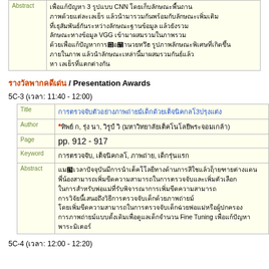| Field | Content |
| --- | --- |
| Abstract | Thai text about 3 CNN Thai text VGG Thai text Fine Tuning Thai text |
Thai text / Presentation Awards
5C-3 (Thai: 11:40 - 12:00)
| Field | Content |
| --- | --- |
| Title | Thai text title |
| Author | *Thai authors (Thai institution) |
| Page | pp. 912 - 917 |
| Keyword | Thai keywords |
| Abstract | Thai abstract text ... Fine Tuning Thai text |
5C-4 (Thai: 12:00 - ...)